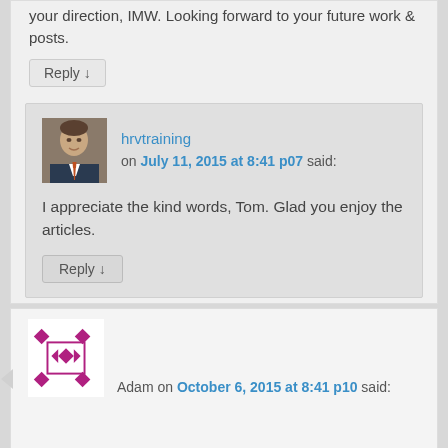your direction, IMW. Looking forward to your future work & posts.
Reply ↓
[Figure (photo): Avatar photo of hrvtraining — man in suit and tie]
hrvtraining on July 11, 2015 at 8:41 p07 said:
I appreciate the kind words, Tom. Glad you enjoy the articles.
Reply ↓
[Figure (illustration): Decorative diamond/quilt pattern avatar for Adam]
Adam on October 6, 2015 at 8:41 p10 said: